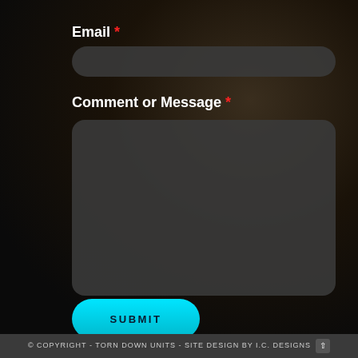Email *
[Figure (other): Empty email input field with dark rounded rectangle background]
Comment or Message *
[Figure (other): Empty comment/message textarea with dark rounded rectangle background]
SUBMIT
© COPYRIGHT - TORN DOWN UNITS - SITE DESIGN BY I.C. DESIGNS